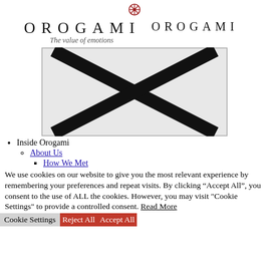[Figure (logo): Orogami brand logo with red snowflake/asterisk icon above the text OROGAMI in spaced serif letters, with tagline 'The value of emotions' in italic, and a second OROGAMI text to the right]
[Figure (illustration): A broken image placeholder: grey rectangle with a large black X drawn corner to corner, bordered by a thin grey outline]
Inside Orogami
About Us
How We Met
We use cookies on our website to give you the most relevant experience by remembering your preferences and repeat visits. By clicking “Accept All”, you consent to the use of ALL the cookies. However, you may visit "Cookie Settings" to provide a controlled consent. Read More
Cookie Settings  Reject All  Accept All